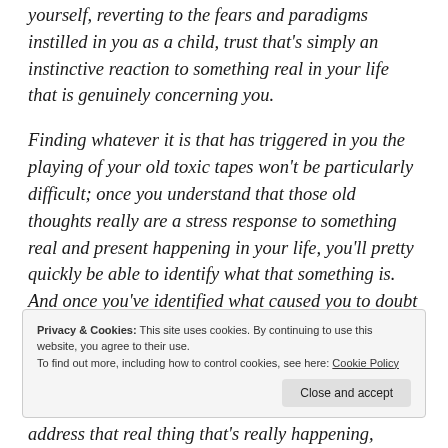yourself, reverting to the fears and paradigms instilled in you as a child, trust that's simply an instinctive reaction to something real in your life that is genuinely concerning you.
Finding whatever it is that has triggered in you the playing of your old toxic tapes won't be particularly difficult; once you understand that those old thoughts really are a stress response to something real and present happening in your life, you'll pretty quickly be able to identify what that something is. And once you've identified what caused you to doubt
Privacy & Cookies: This site uses cookies. By continuing to use this website, you agree to their use.
To find out more, including how to control cookies, see here: Cookie Policy
address that real thing that's really happening,